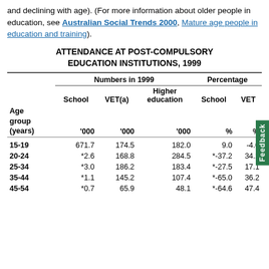and declining with age). (For more information about older people in education, see Australian Social Trends 2000, Mature age people in education and training).
ATTENDANCE AT POST-COMPULSORY EDUCATION INSTITUTIONS, 1999
| Age group (years) | School '000 | VET(a) '000 | Higher education '000 | School % | VET % |
| --- | --- | --- | --- | --- | --- |
| 15-19 | 671.7 | 174.5 | 182.0 | 9.0 | -4.0 |
| 20-24 | *2.6 | 168.8 | 284.5 | *-37.2 | 34.2 |
| 25-34 | *3.0 | 186.2 | 183.4 | *-27.5 | 17.1 |
| 35-44 | *1.1 | 145.2 | 107.4 | *-65.0 | 36.2 |
| 45-54 | *0.7 | 65.9 | 48.1 | *-64.6 | 47.4 |